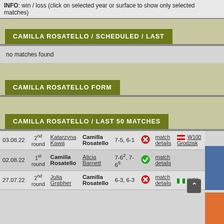INFO: win / loss (click on selected year or surface to show only selected matches)
CAMILLA ROSATELLO / SCHEDULED / LAST
no matches found
CAMILLA ROSATELLO FORM
CAMILLA ROSATELLO / LAST 50 MATCHES
| date | round | player1 | player2 | score | result | details | tournament |
| --- | --- | --- | --- | --- | --- | --- | --- |
| 03.08.22 | 2nd round | Katarzyna Kawa | Camilla Rosatello | 7-5, 6-1 | loss | match details | W100 Grodzisk |
| 02.08.22 | 1st round | Camilla Rosatello | Alicia Barnett | 7-62, 7-65 | win | match details |  |
| 27.07.22 | 2nd round | Julia Grabher | Camilla Rosatello | 6-3, 6-3 | loss | match details | W60 |